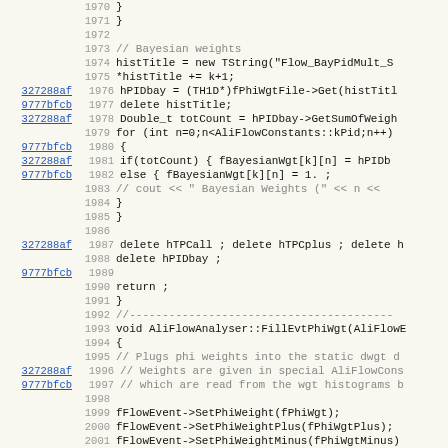Source code view showing lines 1970-2002 of AliFlowAnalyser with blame annotations (git hashes 327288af, 9777bfcb). Code includes Bayesian weights computation and FillEvtPhiWgt function.